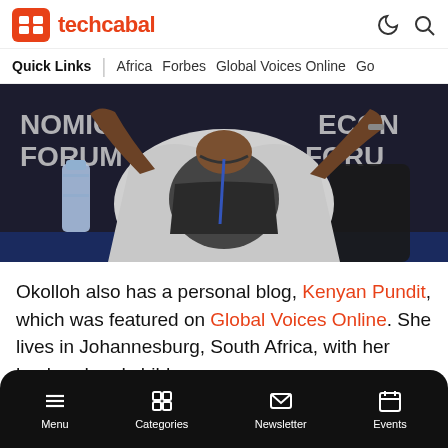techcabal
Quick Links | Africa Forbes Global Voices Online Go
[Figure (photo): Person at a forum panel, gesturing with hands raised, wearing a white/grey cardigan with a black and white patterned top. Background shows signage reading 'NOMIC FORUM' and 'ECONOMIC FORUM'. A blue water bottle is visible on the left.]
Okolloh also has a personal blog, Kenyan Pundit, which was featured on Global Voices Online. She lives in Johannesburg, South Africa, with her husband and children.
Menu Categories Newsletter Events